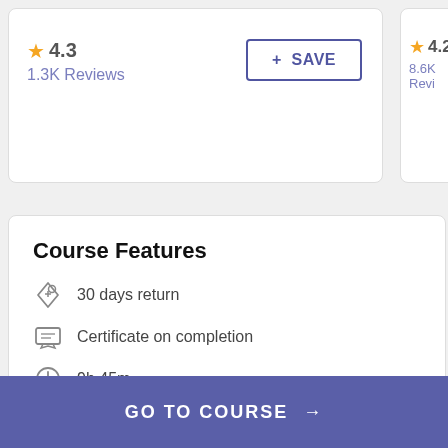★ 4.3
1.3K Reviews
+ SAVE
★ 4.2
8.6K Revi…
Course Features
30 days return
Certificate on completion
9h 45m
GO TO COURSE →